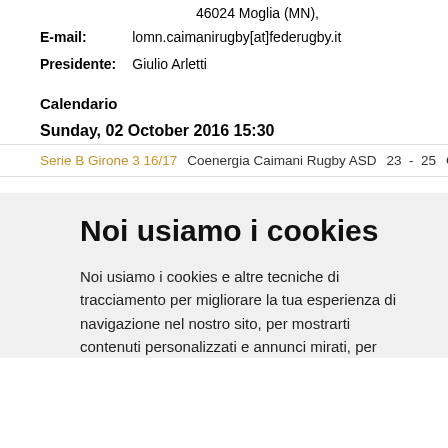46024 Moglia (MN),
E-mail: lomn.caimanirugby[at]federugby.it
Presidente: Giulio Arletti
Calendario
Sunday, 02 October 2016 15:30
Serie B Girone 3 16/17   Coenergia Caimani Rugby ASD   23  -  25   Grifoni Rugby O
Noi usiamo i cookies
Noi usiamo i cookies e altre tecniche di tracciamento per migliorare la tua esperienza di navigazione nel nostro sito, per mostrarti contenuti personalizzati e annunci mirati, per